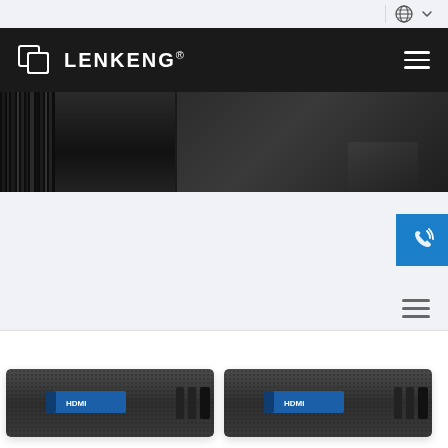[Figure (screenshot): Lenkeng website screenshot showing navigation bar with logo, hero banner with dark background, contact button, and product images at bottom]
LENKENG®
[Figure (photo): Two Lenkeng hardware devices (dark rectangular units with blue label stripe) shown side by side at bottom of page]